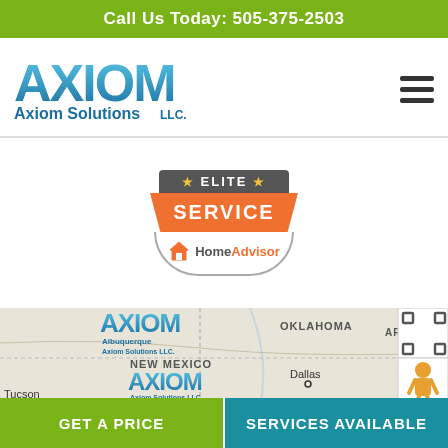Call Us Today: 505-375-2503
[Figure (logo): Axiom Solutions LLC logo in blue/teal metallic lettering]
[Figure (logo): HomeAdvisor Elite Service badge with orange SERVICE ribbon and star decorations]
[Figure (map): Google Maps view showing New Mexico, Oklahoma, Arkansas, Dallas, Tucson area with Axiom Solutions LLC markers and map controls]
GET A PRICE
SERVICES AVAILABLE